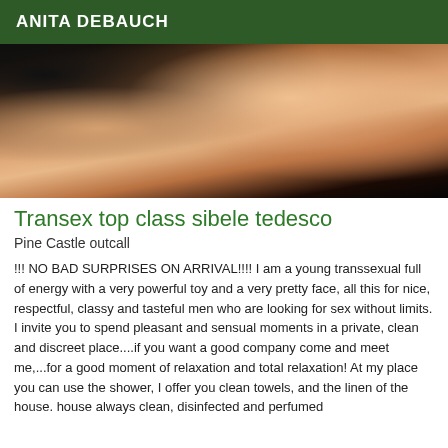ANITA DEBAUCH
[Figure (photo): Photo of a young woman in black lingerie with a yellow strap, dark hair, dramatic makeup, posed on a dark surface]
Transex top class sibele tedesco
Pine Castle outcall
!!! NO BAD SURPRISES ON ARRIVAL!!!! I am a young transsexual full of energy with a very powerful toy and a very pretty face, all this for nice, respectful, classy and tasteful men who are looking for sex without limits. I invite you to spend pleasant and sensual moments in a private, clean and discreet place....if you want a good company come and meet me,...for a good moment of relaxation and total relaxation! At my place you can use the shower, I offer you clean towels, and the linen of the house. house always clean, disinfected and perfumed